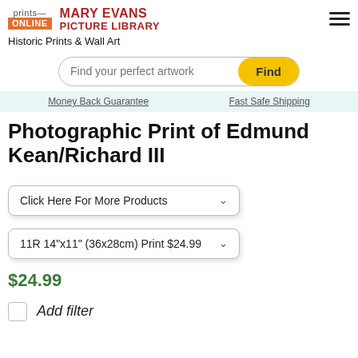[Figure (logo): Prints Online and Mary Evans Picture Library logos with hamburger menu icon]
Historic Prints & Wall Art
[Figure (screenshot): Search bar with text 'Find your perfect artwork' and yellow 'Find' button]
Money Back Guarantee   Fast Safe Shipping
Photographic Print of Edmund Kean/Richard III
[Figure (screenshot): Dropdown: Click Here For More Products]
[Figure (screenshot): Dropdown: 11R 14"x11" (36x28cm) Print $24.99]
$24.99
Add filter